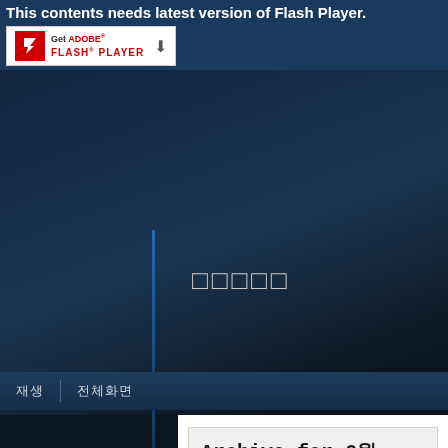This contents needs latest version of Flash Player.
[Figure (screenshot): Adobe Flash Player download badge with red Flash icon and download arrow]
[Figure (screenshot): Dark blue gradient background area representing Flash Player content area with CJK characters and vertical blue line]
재생 | 전체화면
Archive for 6월, 2013
openwrt 에서의 mjpg-streamer 설치
LINUX C & ARM & C51
AMCap